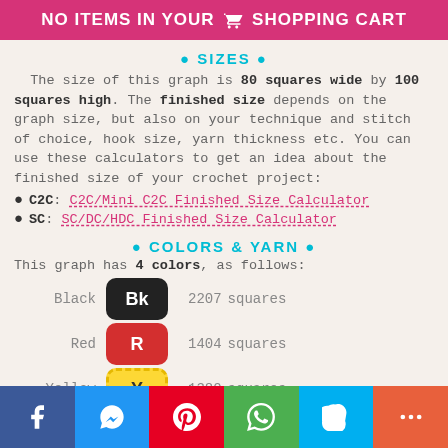NO ITEMS IN YOUR 🛒 SHOPPING CART
● SIZES ●
The size of this graph is 80 squares wide by 100 squares high. The finished size depends on the graph size, but also on your technique and stitch of choice, hook size, yarn thickness etc. You can use these calculators to get an idea about the finished size of your crochet project:
C2C: C2C/Mini C2C Finished Size Calculator
SC: SC/DC/HDC Finished Size Calculator
● COLORS & YARN ●
This graph has 4 colors, as follows:
| Color | Badge | Count | Unit |
| --- | --- | --- | --- |
| Black | Bk | 2207 | squares |
| Red | R | 1404 | squares |
| Yellow | Y | 1380 | squares |
f  messenger  pinterest  whatsapp  skype  more